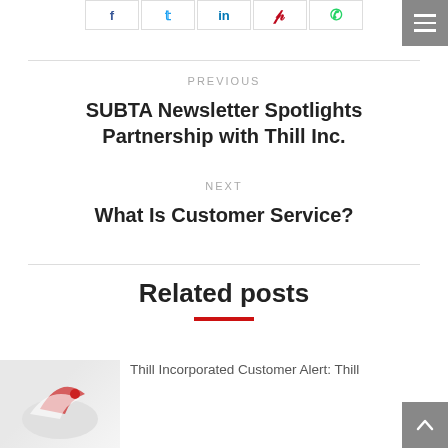[Figure (other): Social share buttons for Facebook, Twitter, LinkedIn, Pinterest, WhatsApp]
[Figure (other): Hamburger menu icon (three horizontal lines) on grey background, top right]
PREVIOUS
SUBTA Newsletter Spotlights Partnership with Thill Inc.
NEXT
What Is Customer Service?
Related posts
[Figure (photo): Partial thumbnail image showing a logo or graphic (red and white bird/rocket design)]
Thill Incorporated Customer Alert: Thill
[Figure (other): Scroll-to-top button (upward arrow) on grey background, bottom right]